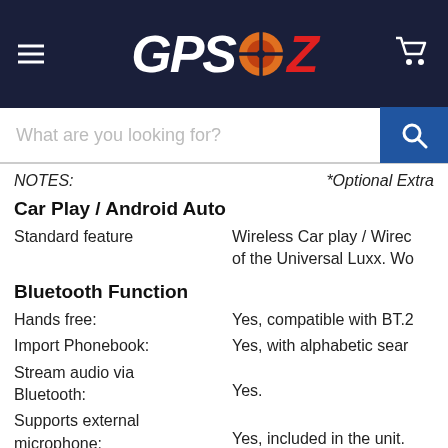GPSOZ
What are you looking for?
NOTES: *Optional Extra
Car Play / Android Auto
Standard feature
Wireless Car play / Wireless Android Auto is a standard feature of the Universal Luxx. Wo…
Bluetooth Function
Hands free:
Yes, compatible with BT.2…
Import Phonebook:
Yes, with alphabetic sear…
Stream audio via Bluetooth:
Yes.
Supports external microphone:
Yes, included in the unit.